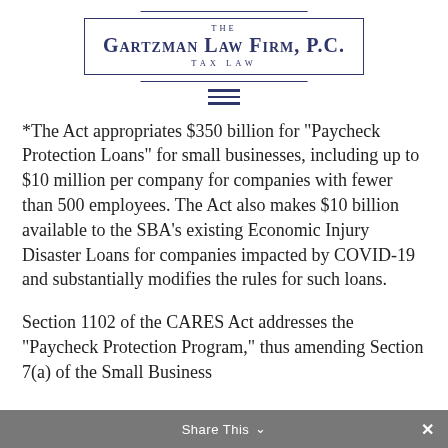[Figure (logo): The Gartzman Law Firm, P.C. — Tax Law logo with decorative border lines]
[Figure (other): Hamburger menu icon (three horizontal lines)]
*The Act appropriates $350 billion for “Paycheck Protection Loans” for small businesses, including up to $10 million per company for companies with fewer than 500 employees. The Act also makes $10 billion available to the SBA’s existing Economic Injury Disaster Loans for companies impacted by COVID-19 and substantially modifies the rules for such loans.
Section 1102 of the CARES Act addresses the “Paycheck Protection Program,” thus amending Section 7(a) of the Small Business
Share This ∨  ×